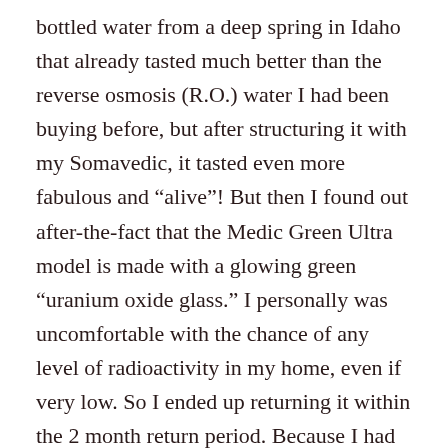bottled water from a deep spring in Idaho that already tasted much better than the reverse osmosis (R.O.) water I had been buying before, but after structuring it with my Somavedic, it tasted even more fabulous and “alive”! But then I found out after-the-fact that the Medic Green Ultra model is made with a glowing green “uranium oxide glass.” I personally was uncomfortable with the chance of any level of radioactivity in my home, even if very low. So I ended up returning it within the 2 month return period. Because I had experienced the benefits of the EMF mitigation and water structuring abilities firsthand, I became committed to finding a model that worked for me.